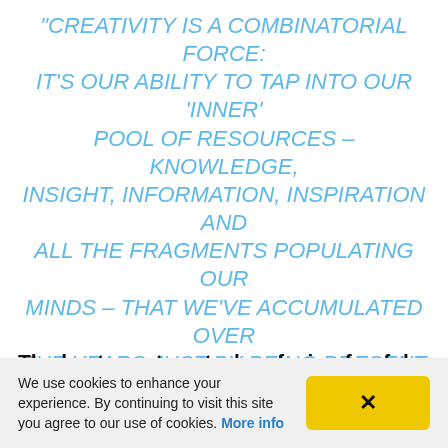“Creativity is a combinatorial force: it’s our ability to tap into our ‘inner’ pool of resources – knowledge, insight, information, inspiration and all the fragments populating our minds – that we’ve accumulated over the years just by being present and alive and awake to the world and to combine them in extraordinary new ways.”  Maria Popova, Brainpickings
The best way to act when facing fearful
We use cookies to enhance your experience. By continuing to visit this site you agree to our use of cookies. More info